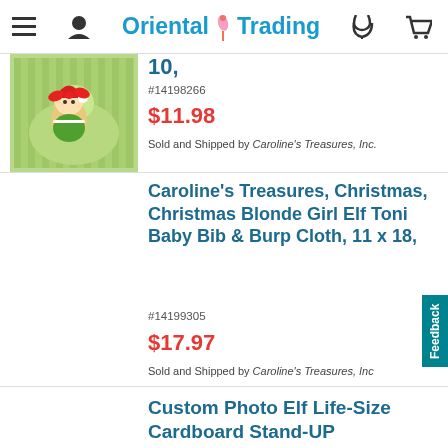Oriental Trading
[Figure (photo): Baby bib with green striped background featuring a blonde girl elf with red bow]
10,
#14198266
$11.98
Sold and Shipped by Caroline's Treasures, Inc.
Caroline's Treasures, Christmas, Christmas Blonde Girl Elf Toni Baby Bib & Burp Cloth, 11 x 18,
#14199305
$17.97
Sold and Shipped by Caroline's Treasures, Inc
Custom Photo Elf Life-Size Cardboard Stand-UP